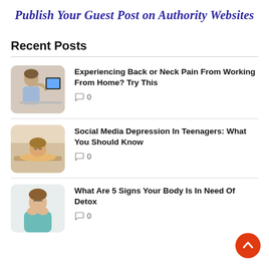[Figure (illustration): Banner with italic bold blue text: Publish Your Guest Post on Authority Websites]
Publish Your Guest Post on Authority Websites
Recent Posts
[Figure (photo): Woman holding her neck in pain near a computer screen]
Experiencing Back or Neck Pain From Working From Home? Try This
0
[Figure (photo): Teenager looking sad/depressed resting head on arms]
Social Media Depression In Teenagers: What You Should Know
0
[Figure (photo): Woman with hands over mouth appearing nauseous or unwell]
What Are 5 Signs Your Body Is In Need Of Detox
0